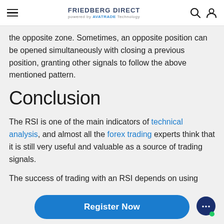FRIEDBERG DIRECT powered by AVATRADE Technology
the opposite zone. Sometimes, an opposite position can be opened simultaneously with closing a previous position, granting other signals to follow the above mentioned pattern.
Conclusion
The RSI is one of the main indicators of technical analysis, and almost all the forex trading experts think that it is still very useful and valuable as a source of trading signals.
The success of trading with an RSI depends on using
Register Now